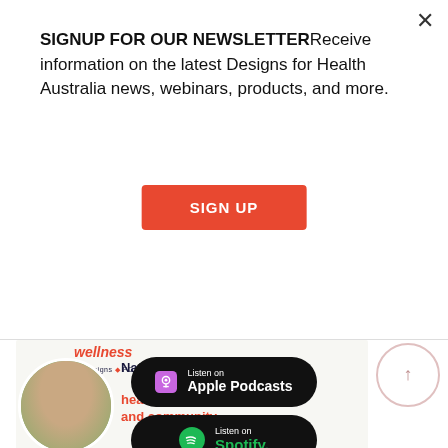SIGNUP FOR OUR NEWSLETTERReceive information on the latest Designs for Health Australia news, webinars, products, and more.
SIGN UP
[Figure (screenshot): Wellness by Designs Podcast banner featuring Dr Amie Steel, Naturopath, with title 'Naturopaths: healers of individuals and community']
[Figure (logo): Listen on Apple Podcasts badge]
[Figure (logo): Listen on Spotify badge]